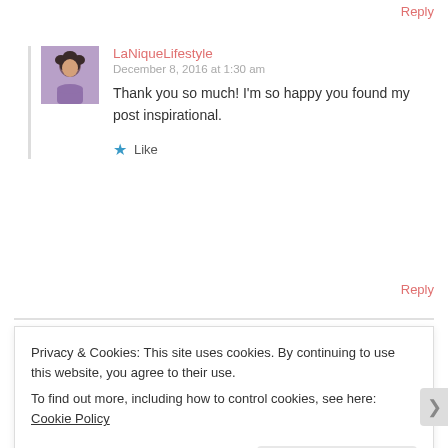Reply
[Figure (photo): Avatar photo of LaNiqueLifestyle user — person with curly hair wearing a purple top]
LaNiqueLifestyle
December 8, 2016 at 1:30 am
Thank you so much! I'm so happy you found my post inspirational.
Like
Reply
Privacy & Cookies: This site uses cookies. By continuing to use this website, you agree to their use.
To find out more, including how to control cookies, see here: Cookie Policy
Close and accept